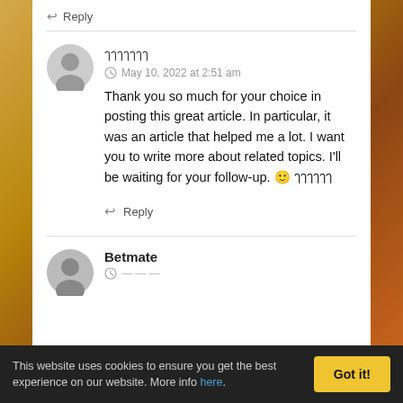↩ Reply
ๅๅๅๅๅๅๅ
May 10, 2022 at 2:51 am
Thank you so much for your choice in posting this great article. In particular, it was an article that helped me a lot. I want you to write more about related topics. I'll be waiting for your follow-up. 🙂 ๅๅๅๅๅๅ
↩ Reply
Betmate
This website uses cookies to ensure you get the best experience on our website. More info here.